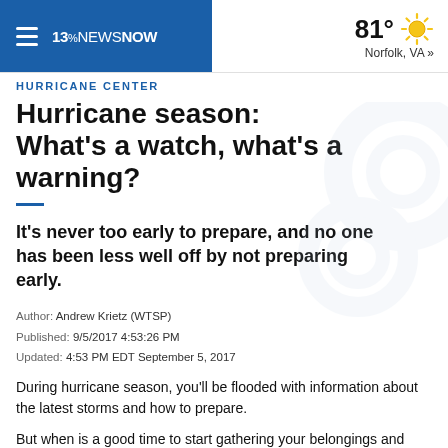13News Now — 81° Norfolk, VA »
HURRICANE CENTER
Hurricane season: What's a watch, what's a warning?
It's never too early to prepare, and no one has been less well off by not preparing early.
Author: Andrew Krietz (WTSP)
Published: 9/5/2017 4:53:26 PM
Updated: 4:53 PM EDT September 5, 2017
During hurricane season, you'll be flooded with information about the latest storms and how to prepare.
But when is a good time to start gathering your belongings and buying supplies? Right now. It's never too early to